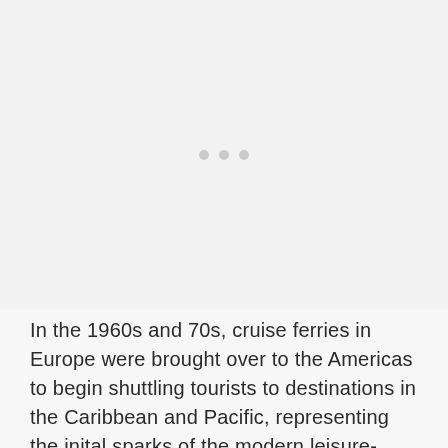[Figure (other): Large image placeholder area with three small grey dots centered in the upper portion of the page]
In the 1960s and 70s, cruise ferries in Europe were brought over to the Americas to begin shuttling tourists to destinations in the Caribbean and Pacific, representing the inital sparks of the modern leisure-cruise era.  The language, in many countries however